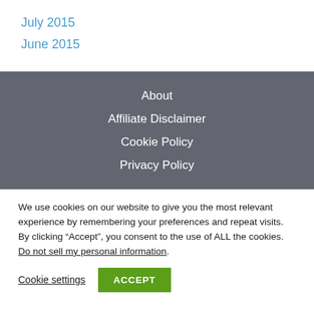July 2015
June 2015
About
Affiliate Disclaimer
Cookie Policy
Privacy Policy
We use cookies on our website to give you the most relevant experience by remembering your preferences and repeat visits. By clicking “Accept”, you consent to the use of ALL the cookies. Do not sell my personal information.
Cookie settings  ACCEPT